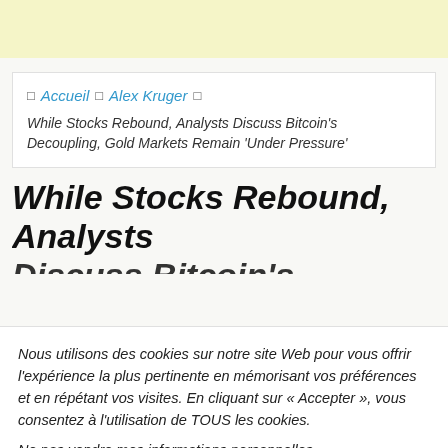☐  Accueil  ☐  Alex Kruger  ☐
While Stocks Rebound, Analysts Discuss Bitcoin's Decoupling, Gold Markets Remain 'Under Pressure'
While Stocks Rebound, Analysts Discuss Bitcoin's Decoupling, Gold
Nous utilisons des cookies sur notre site Web pour vous offrir l'expérience la plus pertinente en mémorisant vos préférences et en répétant vos visites. En cliquant sur « Accepter », vous consentez à l'utilisation de TOUS les cookies.
Ne pas vendre mes informations personnelles.
Paramètres des cookies
J'accepte